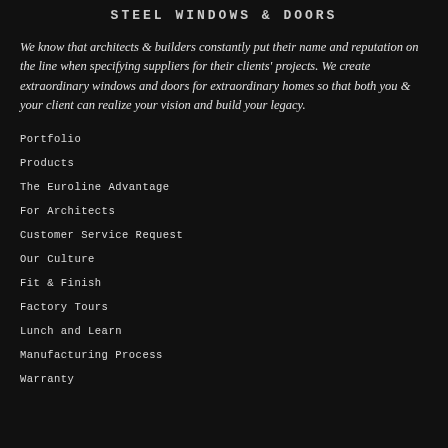STEEL WINDOWS & DOORS
We know that architects & builders constantly put their name and reputation on the line when specifying suppliers for their clients' projects. We create extraordinary windows and doors for extraordinary homes so that both you & your client can realize your vision and build your legacy.
Portfolio
Products
The Euroline Advantage
For Architects
Customer Service Request
Our Culture
Fit & Finish
Factory Tours
Lunch and Learn
Manufacturing Process
Warranty